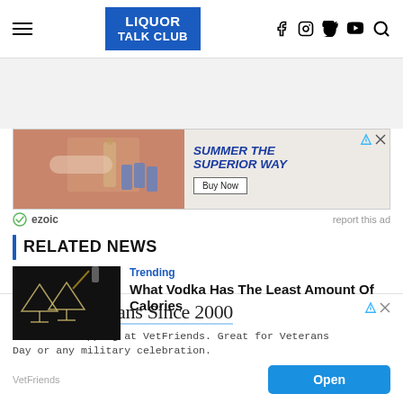LIQUOR TALK CLUB — navigation header with hamburger menu and social icons (f, Instagram, Twitter, YouTube, Search)
[Figure (screenshot): Advertisement banner: Summer The Superior Way with Buy Now button; ezoic / report this ad bar below]
RELATED NEWS
[Figure (photo): Dark photo of martini glasses being filled from a bottle]
Trending
What Vodka Has The Least Amount Of Calories
[Figure (screenshot): Ad overlay: Serving Veterans Since 2000 — VetFriends. The best shopping at VetFriends. Great for Veterans Day or any military celebration. Open button.]